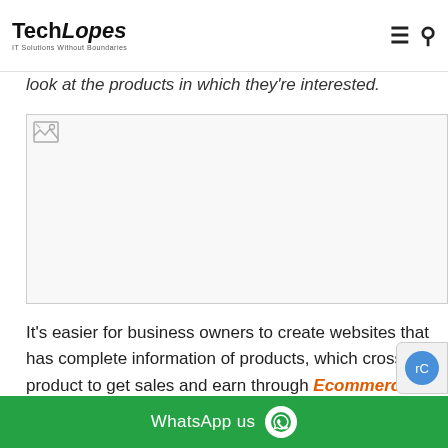TechLopes — IT Solutions Without Boundaries (navigation bar with hamburger menu and search icon)
look at the products in which they're interested.
[Figure (photo): Broken image placeholder — large image that failed to load, shown as a broken image icon in the top-left corner of a white/light grey bordered box]
It's easier for business owners to create websites that has complete information of products, which cross-sell product to get sales and earn through Ecommerce Development ...